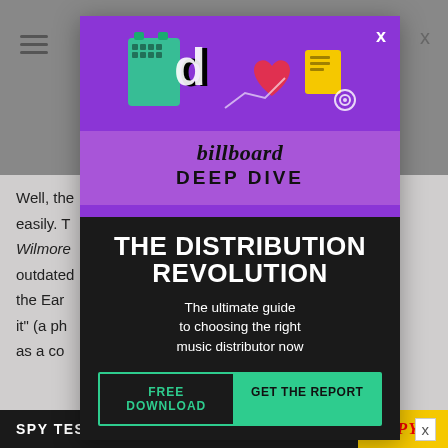[Figure (screenshot): Gray photo strip at top of webpage showing blurred background]
Well, the that easily. T arry Wilmore s outdated nd why the Ear wl upon it" (a ph rpreted as a co tical
[Figure (infographic): Billboard Deep Dive advertisement overlay. Purple top section with TikTok and social media icons, 'billboard DEEP DIVE' branding. Dark section with white bold text 'THE DISTRIBUTION REVOLUTION', subtitle 'The ultimate guide to choosing the right music distributor now', two buttons: 'FREE DOWNLOAD' and 'GET THE REPORT' in green.]
SPY TESTED & REVIEWED
[Figure (logo): SPY logo in yellow background with red italic text]